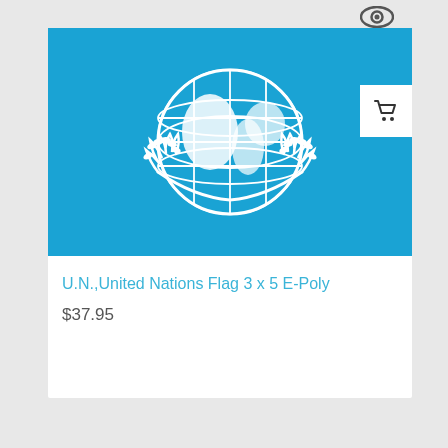[Figure (screenshot): Eye/visibility icon at top right of product card]
[Figure (screenshot): Shopping cart button overlaid at top right corner of flag image]
[Figure (photo): United Nations flag - light blue background with the UN emblem (white globe with olive branches) centered]
U.N.,United Nations Flag 3 x 5 E-Poly
$37.95